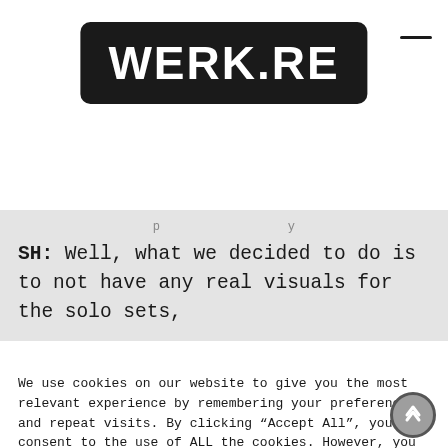[Figure (logo): WERK.RE logo — white bold text on black rounded rectangle]
SH: Well, what we decided to do is to not have any real visuals for the solo sets,
We use cookies on our website to give you the most relevant experience by remembering your preferences and repeat visits. By clicking “Accept All”, you consent to the use of ALL the cookies. However, you may visit “Cookie Settings” to provide a controlled consent.
Cookie Settings   Accept All